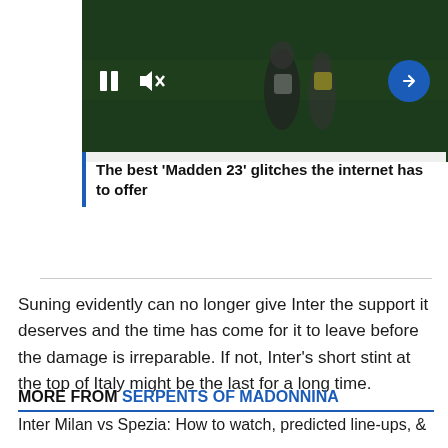[Figure (screenshot): Video player showing sports/football players on a field with video controls: pause button, mute button, and blue circular arrow/next button on the right.]
The best ‘Madden 23’ glitches the internet has to offer
Suning evidently can no longer give Inter the support it deserves and the time has come for it to leave before the damage is irreparable. If not, Inter’s short stint at the top of Italy might be the last for a long time.
MORE FROM SERPENTS OF MADONNINA
Inter Milan vs Spezia: How to watch, predicted line-ups, &